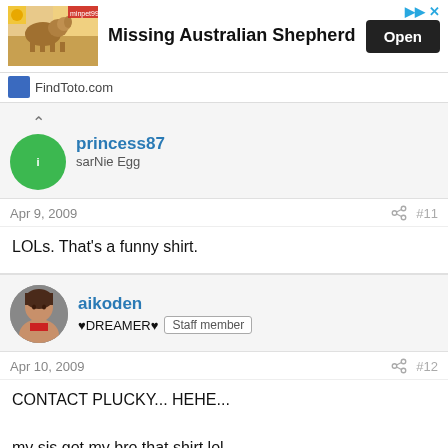[Figure (screenshot): Ad banner for FindToto.com showing Missing Australian Shepherd with dog photo, Open button]
princess87
sarNie Egg
Apr 9, 2009   #11
LOLs. That's a funny shirt.
aikoden
♥DREAMER♥  Staff member
Apr 10, 2009   #12
CONTACT PLUCKY... HEHE...

my sis got my bro that shirt lol..

i agree it's funny...